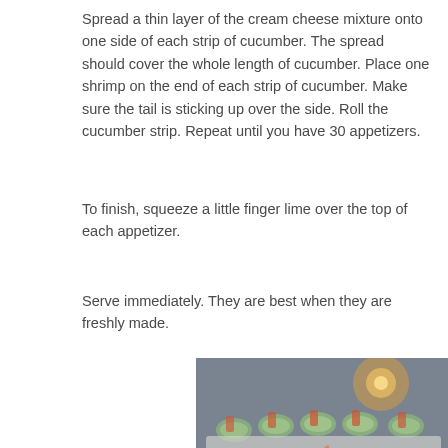Spread a thin layer of the cream cheese mixture onto one side of each strip of cucumber. The spread should cover the whole length of cucumber. Place one shrimp on the end of each strip of cucumber. Make sure the tail is sticking up over the side. Roll the cucumber strip. Repeat until you have 30 appetizers.
To finish, squeeze a little finger lime over the top of each appetizer.
Serve immediately. They are best when they are freshly made.
[Figure (photo): Close-up photo of cucumber rolls filled with cream cheese and shrimp appetizers on a white plate, with shrimp tails sticking up, and a row of similar appetizers in the background with a warm bokeh light.]